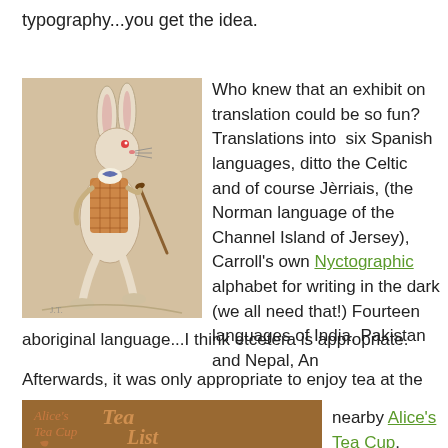typography...you get the idea.
[Figure (illustration): Illustration of the White Rabbit from Alice in Wonderland, dressed in a waistcoat and holding a cane, colored pencil style on aged paper background.]
Who knew that an exhibit on translation could be so fun? Translations into six Spanish languages, ditto the Celtic and of course Jèrriais, (the Norman language of the Channel Island of Jersey), Carroll's own Nyctographic alphabet for writing in the dark (we all need that!) Fourteen languages of India, Pakistan and Nepal, An aboriginal language...I think etcetera is appropriate.
Afterwards, it was only appropriate to enjoy tea at the nearby Alice's Tea Cup.
[Figure (photo): Photo of Alice's Tea Cup restaurant sign, showing the text 'Alice's Tea Cup Tea List' in decorative lettering on a warm-toned background.]
Then off to another